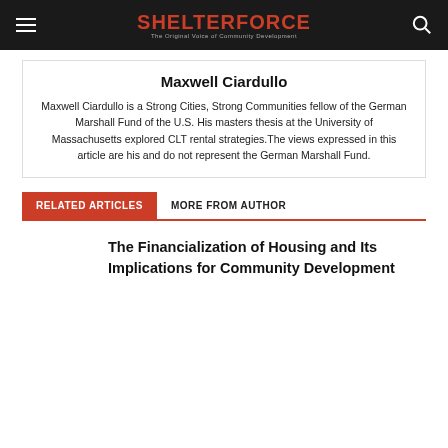SHELTERFORCE — The Original Voice of Community Development
Maxwell Ciardullo
Maxwell Ciardullo is a Strong Cities, Strong Communities fellow of the German Marshall Fund of the U.S. His masters thesis at the University of Massachusetts explored CLT rental strategies.The views expressed in this article are his and do not represent the German Marshall Fund.
RELATED ARTICLES
MORE FROM AUTHOR
The Financialization of Housing and Its Implications for Community Development